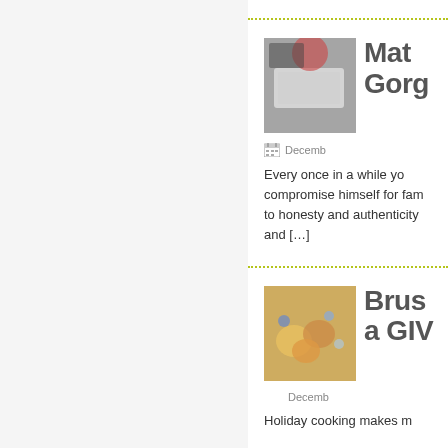[Figure (photo): Food photo showing dumplings or appetizers on a white plate, dark background]
Mat... Gorg...
December...
Every once in a while yo... compromise himself for fam... to honesty and authenticity... and [...]
[Figure (photo): Holiday food photo showing colorful appetizers or bruschetta on a plate with festive decorations]
Brus... a GIV...
December...
Holiday cooking makes m...